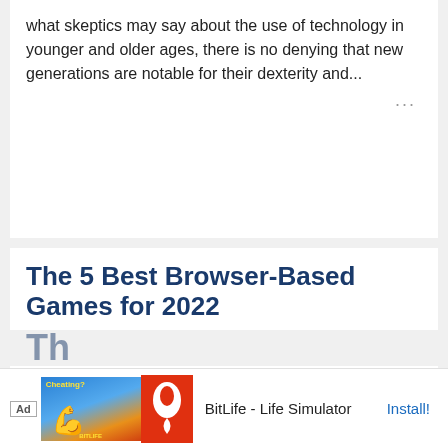what skeptics may say about the use of technology in younger and older ages, there is no denying that new generations are notable for their dexterity and...
The 5 Best Browser-Based Games for 2022
598  0  Jul 14
jayisgames.com — It used to be that gaming was limited to PC, console, or handheld devices like the Nintendo Gameboy and its modern counterpart, the Switch. Games had to be bought, ripped out of the carton, and installed. However, there's a new...
[Figure (screenshot): Advertisement banner for BitLife - Life Simulator app with install button]